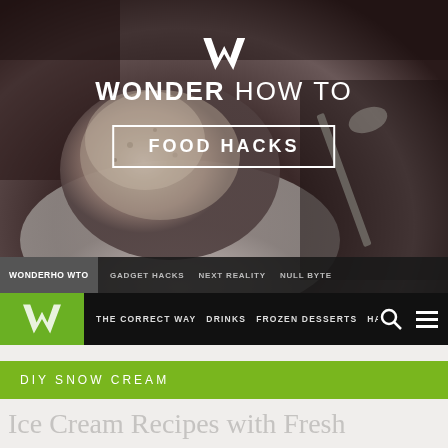[Figure (screenshot): Hero image of ice cream / snow cream in a bowl with a spoon, dark brownish background, WonderHowTo Food Hacks website header screenshot]
WONDER HOW TO
FOOD HACKS
WONDERHOWTO | GADGET HACKS | NEXT REALITY | NULL BYTE
THE CORRECT WAY  DRINKS  FROZEN DESSERTS  HA...
DIY SNOW CREAM
Ice Cream Recipes with Fresh